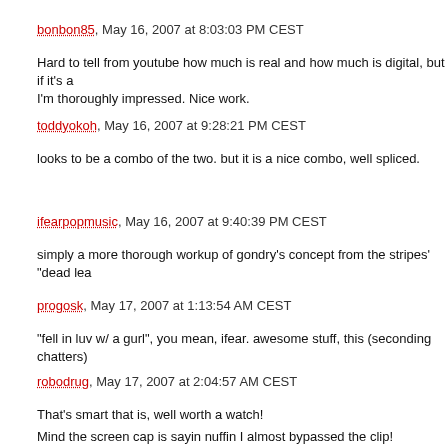bonbon85, May 16, 2007 at 8:03:03 PM CEST
Hard to tell from youtube how much is real and how much is digital, but if it's a I'm thoroughly impressed. Nice work.
toddyokoh, May 16, 2007 at 9:28:21 PM CEST
looks to be a combo of the two. but it is a nice combo, well spliced.
ifearpopmusic, May 16, 2007 at 9:40:39 PM CEST
simply a more thorough workup of gondry's concept from the stripes' "dead lea
progosk, May 17, 2007 at 1:13:54 AM CEST
"fell in luv w/ a gurl", you mean, ifear. awesome stuff, this (seconding chatters)
robodrug, May 17, 2007 at 2:04:57 AM CEST
That's smart that is, well worth a watch!
Mind the screen cap is sayin nuffin I almost bypassed the clip!